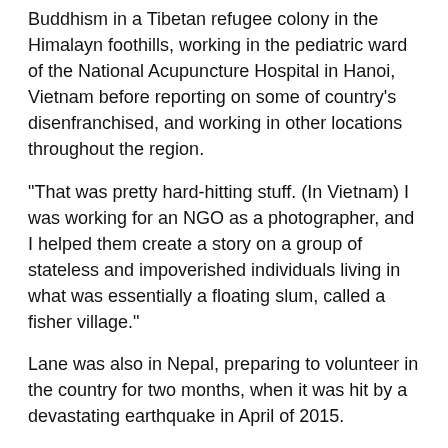Buddhism in a Tibetan refugee colony in the Himalayn foothills, working in the pediatric ward of the National Acupuncture Hospital in Hanoi, Vietnam before reporting on some of country's disenfranchised, and working in other locations throughout the region.
“That was pretty hard-hitting stuff. (In Vietnam) I was working for an NGO as a photographer, and I helped them create a story on a group of stateless and impoverished individuals living in what was essentially a floating slum, called a fisher village.”
Lane was also in Nepal, preparing to volunteer in the country for two months, when it was hit by a devastating earthquake in April of 2015.
“I was in the middle of a three-week hike through the Annapurna Mountain range and we were in a village preparing to go through Thorong La Pass when the earthquake hit. The first impact was two minutes of continuous shaking. The mountains all around you seemed like they were falling off of themselves.”
While waiting for phone service to come back to the area,